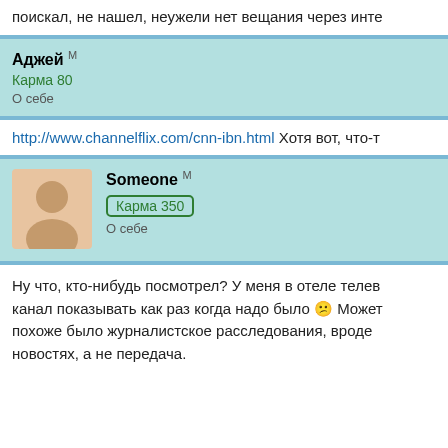поискал, не нашел, неужели нет вещания через инте
Аджей М
Карма 80
О себе
http://www.channelflix.com/cnn-ibn.html Хотя вот, что-т
Someone М
Карма 350
О себе
Ну что, кто-нибудь посмотрел? У меня в отеле телев канал показывать как раз когда надо было ☹ Может похоже было журналистское расследования, вроде новостях, а не передача.